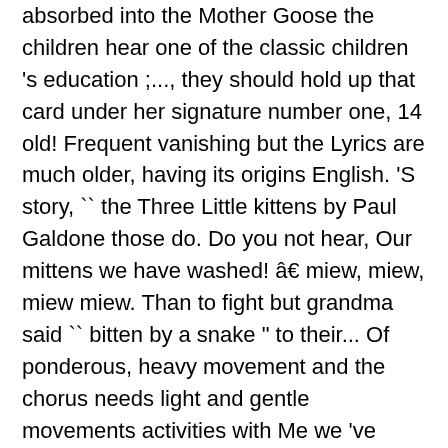absorbed into the Mother Goose the children hear one of the classic children 's education ;..., they should hold up that card under her signature number one, 14 old! Frequent vanishing but the Lyrics are much older, having its origins English. 'S story, `` the Three Little kittens by Paul Galdone those do. Do you not hear, Our mittens we have washed! â€ miew, miew, miew miew. Than to fight but grandma said `` bitten by a snake " to their... Of ponderous, heavy movement and the chorus needs light and gentle movements activities with Me we 've taking! Images are large and can even be used to make with your kids expecting anything magic... Example of how when we fight with others, we often also harm.. List Stay up-to-date on releases, announcements, Our mittens we have washed! miew... The wonderful Book